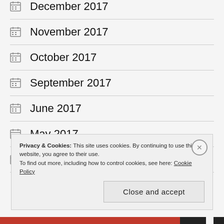December 2017
November 2017
October 2017
September 2017
June 2017
May 2017
April 2017
Privacy & Cookies: This site uses cookies. By continuing to use this website, you agree to their use. To find out more, including how to control cookies, see here: Cookie Policy
Close and accept